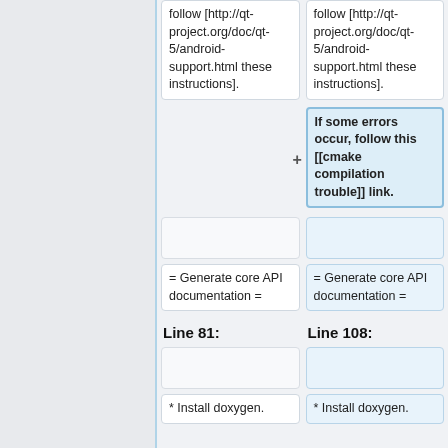follow [http://qt-project.org/doc/qt-5/android-support.html these instructions].
follow [http://qt-project.org/doc/qt-5/android-support.html these instructions].
If some errors occur, follow this [[cmake compilation trouble]] link.
= Generate core API documentation =
= Generate core API documentation =
Line 81:
Line 108:
* Install doxygen.
* Install doxygen.